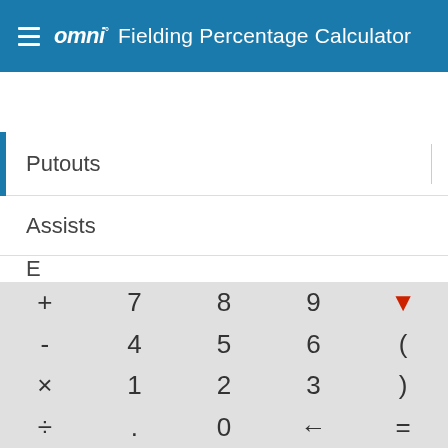omni° Fielding Percentage Calculator
Putouts
Assists
E
[Figure (screenshot): On-screen calculator keypad with buttons: +, 7, 8, 9, ▼ (red), -, 4, 5, 6, (, ×, 1, 2, 3, ), ÷, ., 0, ←, =]